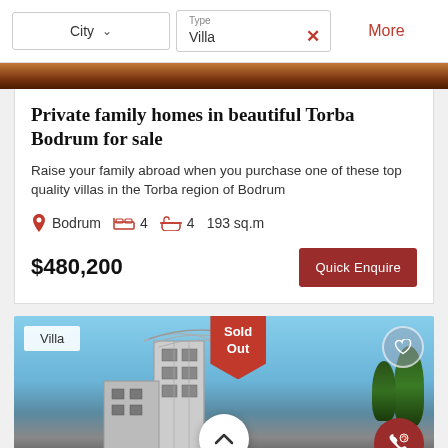[Figure (screenshot): Filter bar with City dropdown, Type: Villa filter with close button, and More link in red]
[Figure (photo): Top portion of a property photo - warm toned image, partially visible]
Private family homes in beautiful Torba Bodrum for sale
Raise your family abroad when you purchase one of these top quality villas in the Torba region of Bodrum
Bodrum  4  4  193 sq.m
$480,200
[Figure (screenshot): Quick Enquire button in dark red]
[Figure (photo): Second property listing photo showing a modern villa building with blue sky. Overlaid with Villa badge, Sold Out banner, heart icon, scroll up button, and phone chat button]